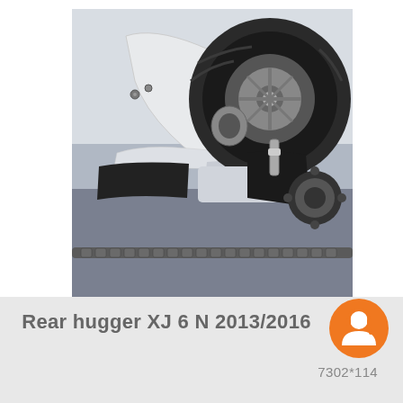[Figure (photo): Close-up photo of a motorcycle rear hugger/chain guard showing white swingarm, rear wheel with tire, brake disc, and chain on a Yamaha XJ6 N motorcycle]
Rear hugger XJ 6 N 2013/2016
7302*114